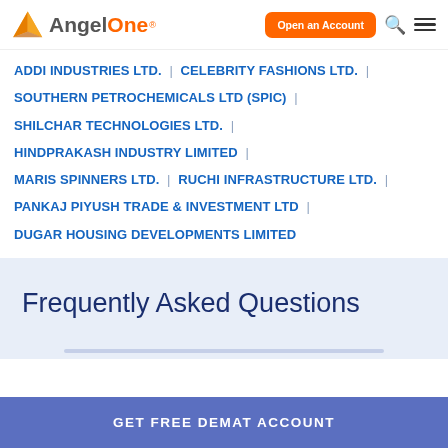AngelOne — Open an Account
ADDI INDUSTRIES LTD.
CELEBRITY FASHIONS LTD.
SOUTHERN PETROCHEMICALS LTD (SPIC)
SHILCHAR TECHNOLOGIES LTD.
HINDPRAKASH INDUSTRY LIMITED
MARIS SPINNERS LTD.
RUCHI INFRASTRUCTURE LTD.
PANKAJ PIYUSH TRADE & INVESTMENT LTD
DUGAR HOUSING DEVELOPMENTS LIMITED
Frequently Asked Questions
GET FREE DEMAT ACCOUNT